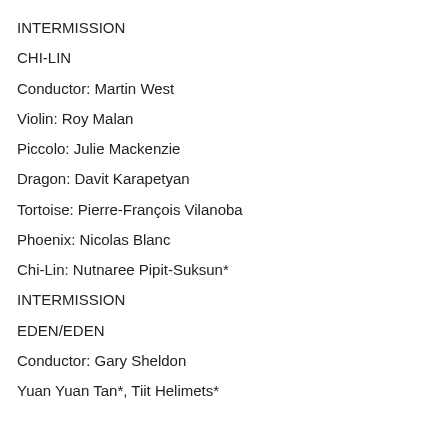INTERMISSION
CHI-LIN
Conductor: Martin West
Violin: Roy Malan
Piccolo: Julie Mackenzie
Dragon: Davit Karapetyan
Tortoise: Pierre-François Vilanoba
Phoenix: Nicolas Blanc
Chi-Lin: Nutnaree Pipit-Suksun*
INTERMISSION
EDEN/EDEN
Conductor: Gary Sheldon
Yuan Yuan Tan*, Tiit Helimets*